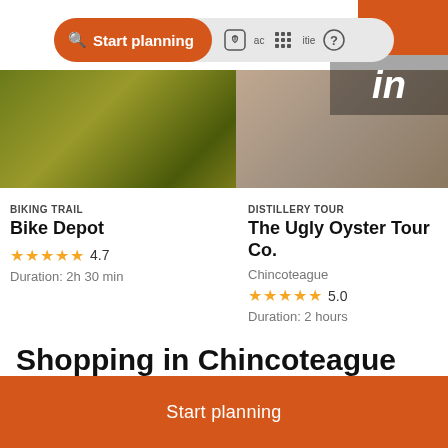[Figure (screenshot): Top navigation bar with orange 'Start planning' button and icons for saved places, grid/activities, and help]
[Figure (photo): Blurred greenish-yellow nature photo for Bike Depot biking trail card]
[Figure (photo): Blurred brownish photo for The Ugly Oyster Tour Co. distillery tour card, partially overlaid with orange rectangle and 'in' text]
BIKING TRAIL
Bike Depot
★★★★★ 4.7
Duration: 2h 30 min
DISTILLERY TOUR
The Ugly Oyster Tour Co.
Chincoteague
★★★★★ 5.0
Duration: 2 hours
Shopping in Chincoteague Island
Start planning